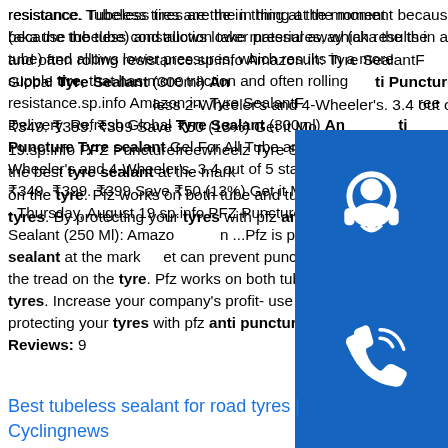resistance. Tubeless tires are the in thing at the moment because tubeless construction take material away (aka the the tube) and allows lower pressures, which results in a more supple tire, that has more traction and often rolling resistance.sp.info Amazon.in: Tyre SealantFree Delivery. Refresh Global Tyre Sealant (300ml) Anti Puncture Tyre sealant Gel For All Tube and Tubeless 2-Wheeler's and 4-Wheeler's. 3.4 out of 5 stars. 16 ₹349. ₹349. ₹399. ₹399 Save ₹50 (13%) Get it Mon August 16 - Thursday, August 19.sp.info PFZ Puncturefreewheelz Tyre Sealant (250 Ml): Amazon ...Pfz is probably the best tyre sealant at the market can prevent punctures up to 10 mm, in the tread on the tyre. Pfz works on both tube and tubeless tyres. Increase your company's profit- use pfz in your tyres. By protecting your tyres with pfz anti puncture liquid you ...Reviews: 9
[Figure (illustration): Three blue square buttons on the right side: headphone/support icon, phone/call icon, and Skype icon]
Best tubeless sealant for road tyres | Cyclingnews